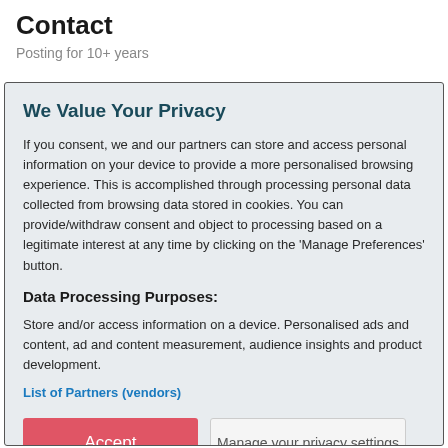Contact
Posting for 10+ years
We Value Your Privacy
If you consent, we and our partners can store and access personal information on your device to provide a more personalised browsing experience. This is accomplished through processing personal data collected from browsing data stored in cookies. You can provide/withdraw consent and object to processing based on a legitimate interest at any time by clicking on the 'Manage Preferences' button.
Data Processing Purposes:
Store and/or access information on a device. Personalised ads and content, ad and content measurement, audience insights and product development.
List of Partners (vendors)
Accept
Manage your privacy settings